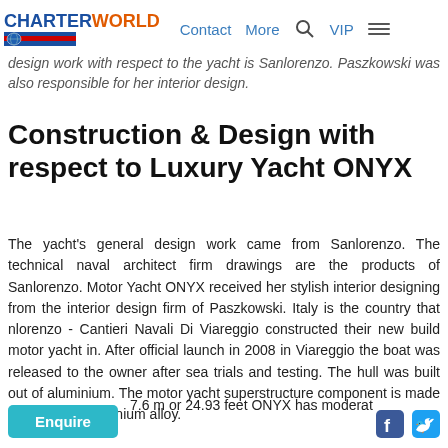CHARTERWORLD | Contact | More | VIP
design work with respect to the yacht is Sanlorenzo. Paszkowski was also responsible for her interior design.
Construction & Design with respect to Luxury Yacht ONYX
The yacht's general design work came from Sanlorenzo. The technical naval architect firm drawings are the products of Sanlorenzo. Motor Yacht ONYX received her stylish interior designing from the interior design firm of Paszkowski. Italy is the country that nlorenzo - Cantieri Navali Di Viareggio constructed their new build motor yacht in. After official launch in 2008 in Viareggio the boat was released to the owner after sea trials and testing. The hull was built out of aluminium. The motor yacht superstructure component is made largely with aluminium alloy.
7.6 m or 24.93 feet ONYX has moderat